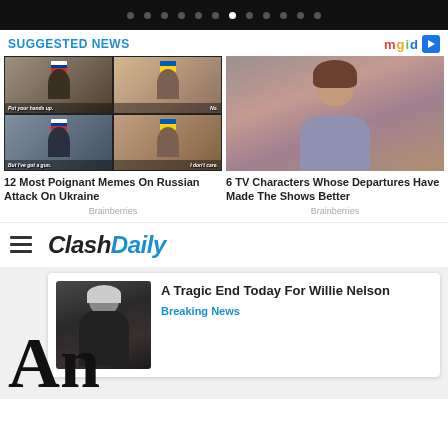Navigation dots / carousel indicator bar
SUGGESTED NEWS
[Figure (photo): Meme collage showing four panels with Russia and Ukraine flag emojis on figures, text: 'Put your hands up.', 'No.', 'But I've got a gun.', 'I don't care.']
12 Most Poignant Memes On Russian Attack On Ukraine
Brainberries
[Figure (photo): Woman with short brown hair in gray/purple cardigan looking serious, TV character photo]
6 TV Characters Whose Departures Have Made The Shows Better
Brainberries
ClashDaily navigation header with hamburger menu
[Figure (photo): Thumbnail of an elderly man with white hair in dark clothing]
A Tragic End Today For Willie Nelson
Breaking News
An